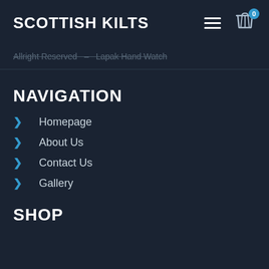SCOTTISH KILTS
Allright Reserved – Lapak Hand Watch
NAVIGATION
Homepage
About Us
Contact Us
Gallery
SHOP